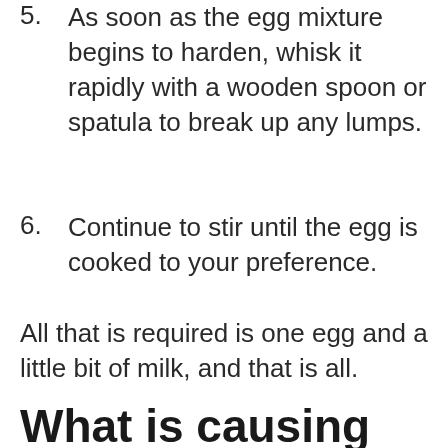5. As soon as the egg mixture begins to harden, whisk it rapidly with a wooden spoon or spatula to break up any lumps.
6. Continue to stir until the egg is cooked to your preference.
All that is required is one egg and a little bit of milk, and that is all.
What is causing my